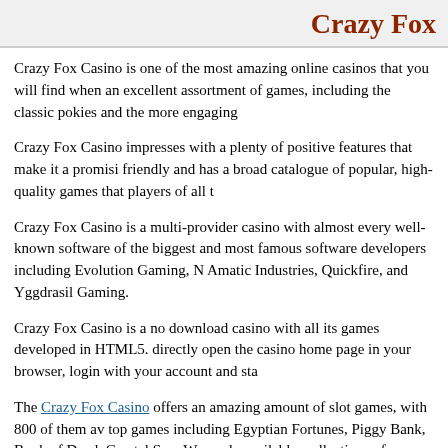Crazy Fox
Crazy Fox Casino is one of the most amazing online casinos that you will find when an excellent assortment of games, including the classic pokies and the more engaging
Crazy Fox Casino impresses with a plenty of positive features that make it a promisi friendly and has a broad catalogue of popular, high-quality games that players of all t
Crazy Fox Casino is a multi-provider casino with almost every well-known software of the biggest and most famous software developers including Evolution Gaming, N Amatic Industries, Quickfire, and Yggdrasil Gaming.
Crazy Fox Casino is a no download casino with all its games developed in HTML5. directly open the casino home page in your browser, login with your account and sta
The Crazy Fox Casino offers an amazing amount of slot games, with 800 of them av top games including Egyptian Fortunes, Piggy Bank, Book of Dead, Crystal Sun, We made available, collections of different variants of games such as Roulette, Baccarat
Crazy Fox Casino is owned and operated by a company called N1 Interactive Ltd, w
Crazy Fox Casino uses 256-bit secure socket layer (SSL) encryption technology to p players are secure and encrypted from any unauthorized access from 3rd party organ
At Crazy Fox Casino, you will have several options when it comes to deposit and wi platform is the fact that they accept cryptocurrencies, including Bitcoin, Ethereum, a Neteller, Paysafecard, and bank transfer, among others.